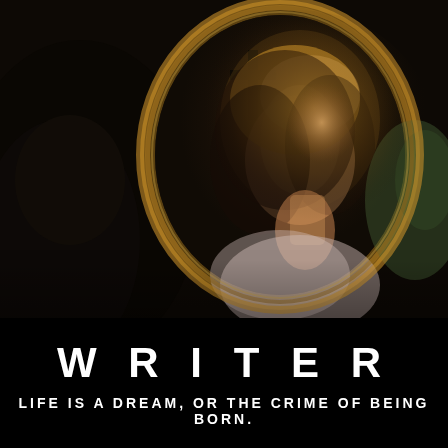[Figure (photo): A woman with dark curly hair looks at herself in an ornate oval mirror. She is wearing a light floral dress and touching her neck/jaw with one hand. Behind her reflection is a dark room with a cross silhouette visible. The image has dramatic cinematic lighting with warm golden light on her face and hair.]
WRITER
LIFE IS A DREAM, OR THE CRIME OF BEING BORN.